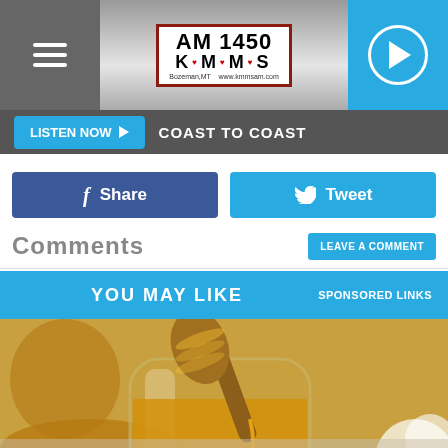AM 1450 K·M·M·S Bozeman, MT www.kmmsam.com
LISTEN NOW ▶   COAST TO COAST
f Share
Tweet
Comments
LEAVE A COMMENT
YOU MAY LIKE
SPONSORED LINKS
[Figure (photo): Close-up photo of honey in a glass jar with a wooden honey dipper, warm golden tones, with a white flower in the background]